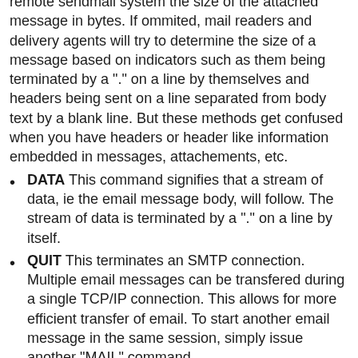remote sendmail system the size of the attached message in bytes. If ommited, mail readers and delivery agents will try to determine the size of a message based on indicators such as them being terminated by a "." on a line by themselves and headers being sent on a line separated from body text by a blank line. But these methods get confused when you have headers or header like information embedded in messages, attachements, etc.
DATA This command signifies that a stream of data, ie the email message body, will follow. The stream of data is terminated by a "." on a line by itself.
QUIT This terminates an SMTP connection. Multiple email messages can be transfered during a single TCP/IP connection. This allows for more efficient transfer of email. To start another email message in the same session, simply issue another "MAIL" command.
VRFY username This command will request that the receiving SMTP server verify that a given email